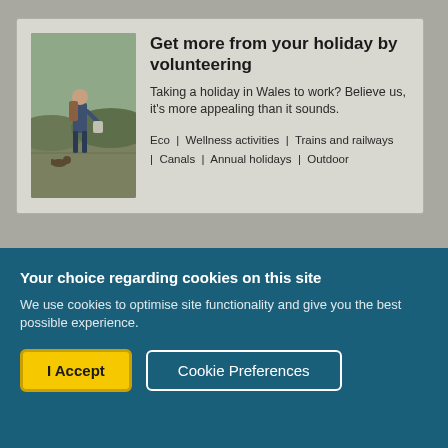[Figure (photo): A person wearing a backpack and carrying bags, collecting litter outdoors in a natural landscape]
Get more from your holiday by volunteering
Taking a holiday in Wales to work? Believe us, it's more appealing than it sounds.
Eco  |  Wellness activities  |  Trains and railways  |  Canals  |  Annual holidays  |  Outdoor
Your choice regarding cookies on this site
We use cookies to optimise site functionality and give you the best possible experience.
I Accept
Cookie Preferences